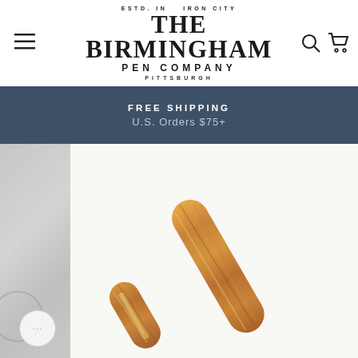The Birmingham Pen Company — ESTD. IN IRON CITY PITTSBURGH
FREE SHIPPING
U.S. Orders $75+
[Figure (photo): Close-up product photo of an amber/honey-colored marbled fountain pen body and cap against a white background, with a gray textured surface visible on the left edge. A small chat/support bubble with '...' is visible in the lower left corner.]